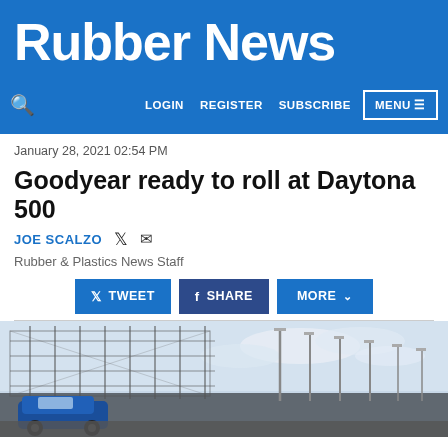Rubber News
LOGIN  REGISTER  SUBSCRIBE  MENU
January 28, 2021 02:54 PM
Goodyear ready to roll at Daytona 500
JOE SCALZO
Rubber & Plastics News Staff
TWEET  SHARE  MORE
[Figure (photo): A race car at Daytona speedway with grandstand structure and light poles visible in background under cloudy sky]